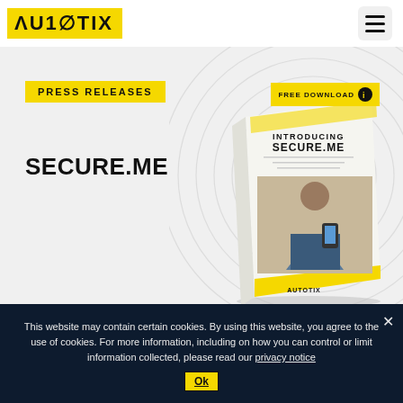AUTOTIX
PRESS RELEASES
[Figure (illustration): Angled brochure/book cover titled INTRODUCING SECURE.ME with an image of a woman on a sofa using a smartphone, with AUTOTIX branding and yellow accents. A FREE DOWNLOAD button with download icon appears above the book.]
SECURE.ME
This website may contain certain cookies. By using this website, you agree to the use of cookies. For more information, including on how you can control or limit information collected, please read our privacy notice
Ok